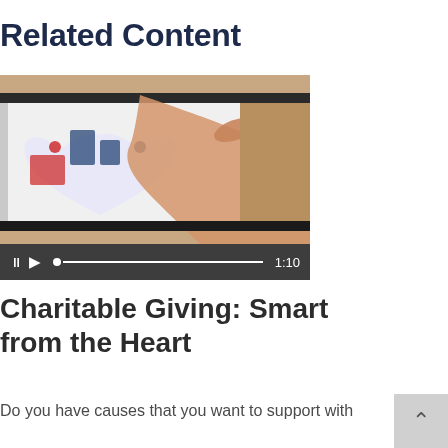Related Content
[Figure (screenshot): Video thumbnail showing a hand touching a tablet screen displaying a heart-shaped collage of American patriotic icons (Statue of Liberty, flags, stars, buildings). Video controls bar at bottom showing pause, play, scrubber and duration 1:10.]
Charitable Giving: Smart from the Heart
Do you have causes that you want to support with